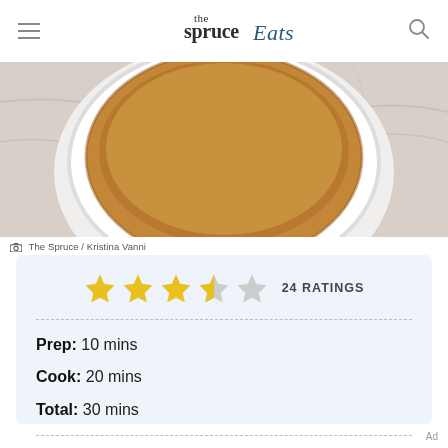the spruce Eats
[Figure (photo): Overhead view of a pie with graham cracker crust in a white pie dish on a marble surface]
The Spruce / Kristina Vanni
24 RATINGS
Prep: 10 mins
Cook: 20 mins
Total: 30 mins